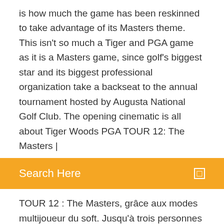is how much the game has been reskinned to take advantage of its Masters theme. This isn't so much a Tiger and PGA game as it is a Masters game, since golf's biggest star and its biggest professional organization take a backseat to the annual tournament hosted by Augusta National Golf Club. The opening cinematic is all about Tiger Woods PGA TOUR 12: The Masters |
[Figure (screenshot): Orange/yellow search bar with text 'Search Here' and a small square icon on the right]
TOUR 12 : The Masters, grâce aux modes multijoueur du soft. Jusqu'à trois personnes peuvent se joindre à vous en ligne dans une multitude de matchs multijoueur, tels que Stroke Play, Four Ball et Greensome. Vous pourrez créer vos propres joueurs ou choisir l'un des nombreux pros du jeu Tiger Woods PGA Tour 12: The Masters for Wii … 29/03/2011 · Tiger Woods PGA Tour 12: The Masters is golfing's greatest video game masterpiece. All this publication's reviews; Read full review; NintendoWorldReport. Apr 18, 2011. 90. A fantastic golf offering.